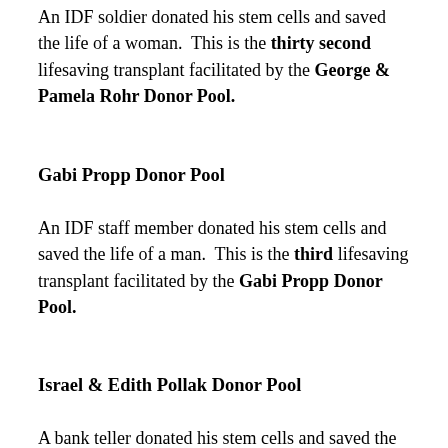An IDF soldier donated his stem cells and saved the life of a woman.  This is the thirty second lifesaving transplant facilitated by the George & Pamela Rohr Donor Pool.
Gabi Propp Donor Pool
An IDF staff member donated his stem cells and saved the life of a man.  This is the third lifesaving transplant facilitated by the Gabi Propp Donor Pool.
Israel & Edith Pollak Donor Pool
A bank teller donated his stem cells and saved the